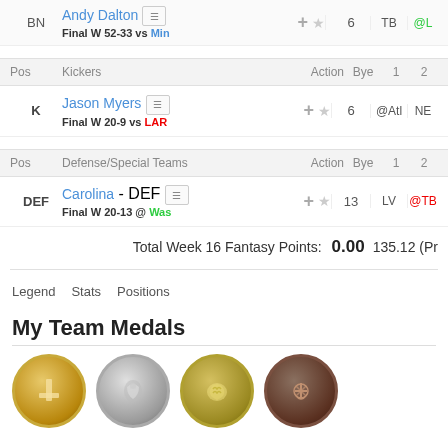| Pos | Player | Action | Bye | 1 | 2 |
| --- | --- | --- | --- | --- | --- |
| BN | Andy Dalton / Final W 52-33 vs Min |  | 6 | TB | @L |
| Pos | Kickers | Action | Bye | 1 | 2 |
| --- | --- | --- | --- | --- | --- |
| K | Jason Myers / Final W 20-9 vs LAR |  | 6 | @Atl | NE |
| Pos | Defense/Special Teams | Action | Bye | 1 | 2 |
| --- | --- | --- | --- | --- | --- |
| DEF | Carolina - DEF / Final W 20-13 @ Was |  | 13 | LV | @TB |
Total Week 16 Fantasy Points: 0.00  135.12 (Pr
Legend  Stats  Positions
My Team Medals